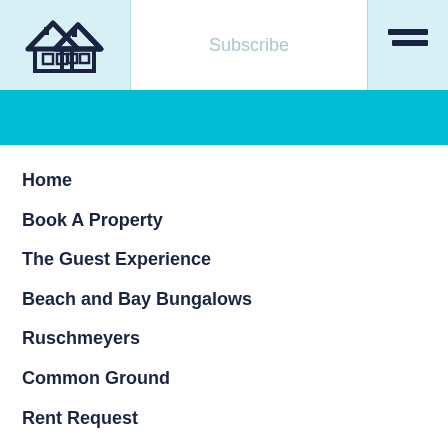[Figure (logo): Two overlapping house icons in dark navy blue forming a logo]
Subscribe
[Figure (illustration): Hamburger menu icon — three horizontal dark navy lines]
Home
Book A Property
The Guest Experience
Beach and Bay Bungalows
Ruschmeyers
Common Ground
Rent Request